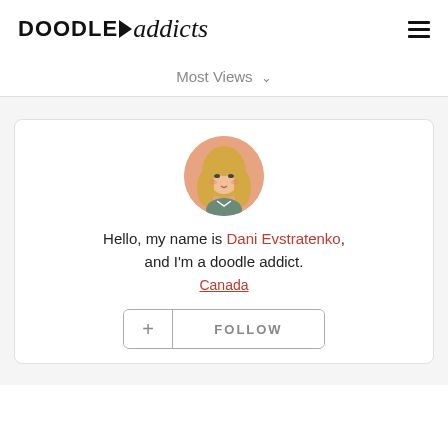DOODLE addicts
Most Views
[Figure (illustration): Circular avatar illustration of a blonde woman with a small round face and green clothing, on a salmon/peach background.]
Hello, my name is Dani Evstratenko, and I'm a doodle addict.
Canada
+ FOLLOW